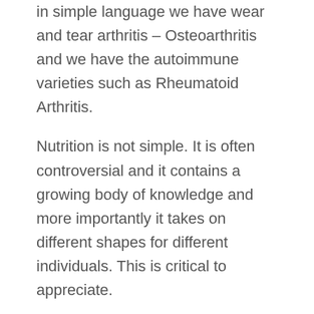in simple language we have wear and tear arthritis – Osteoarthritis and we have the autoimmune varieties such as Rheumatoid Arthritis.
Nutrition is not simple. It is often controversial and it contains a growing body of knowledge and more importantly it takes on different shapes for different individuals. This is critical to appreciate.
Q. What foods are thought to be ANTI inflammatory?
There are numerous foods. They include